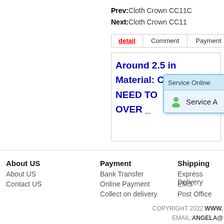Prev: Cloth Crown CC11C
Next: Cloth Crown CC11
| detail | Comment | Payment | S… |
| --- | --- | --- | --- |
[Figure (screenshot): Service Online popup with a green person icon and 'Service A' text, with a close button]
Around 2.5 in
Material: Clo
NEED TO ORDER OVER _
About US
About US
Contact US
Payment
Bank Transfer
Online Payment
Collect on delivery
Shipping
Express Delivery
EMS
Post Office
COPYRIGHT 2022 WWW.
EMAIL:ANGELA@
DESIGN BY: YISO JEWELRY C